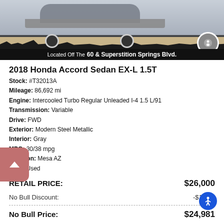[Figure (photo): Photo of a Honda Accord sedan with a dealership banner reading 'Located Off The 60 & Superstition Springs Blvd.']
2018 Honda Accord Sedan EX-L 1.5T
Stock: #T32013A
Mileage: 86,692 mi
Engine: Intercooled Turbo Regular Unleaded I-4 1.5 L/91
Transmission: Variable
Drive: FWD
Exterior: Modern Steel Metallic
Interior: Gray
MPG: 30/38 mpg
Location: Mesa AZ
Type: Used
| Label | Value |
| --- | --- |
| RETAIL PRICE: | $26,000 |
| No Bull Discount: | -$1,019 |
| No Bull Price: | $24,981 |